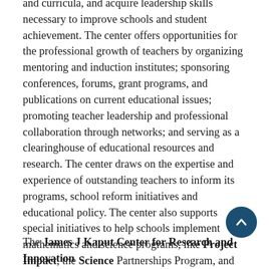and curricula, and acquire leadership skills necessary to improve schools and student achievement. The center offers opportunities for the professional growth of teachers by organizing mentoring and induction institutes; sponsoring conferences, forums, grant programs, and publications on current educational issues; promoting teacher leadership and professional collaboration through networks; and serving as a clearinghouse of educational resources and research. The center draws on the expertise and experience of outstanding teachers to inform its programs, school reform initiatives and educational policy. The center also supports special initiatives to help schools implement mathematics and science programs, like Project Impact, the Science Partnerships Program, and the Southcoast Regional Math Network. The center is the site of the Buzzards Bay Writing Project.
The James J Kaput Center for Research and Innovation